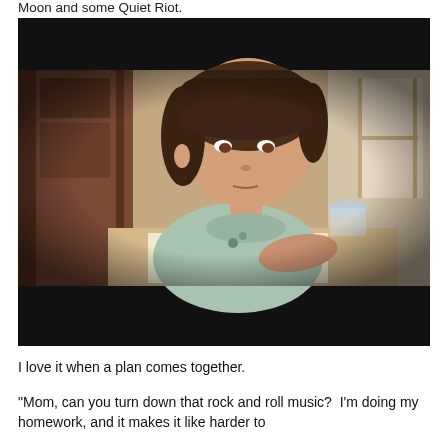Moon and some Quiet Riot.
[Figure (photo): A young girl sitting at a wooden desk doing homework, writing with a pencil, with a bookshelf behind her and window to the right. The photo has a vignette effect with dark borders at top and bottom.]
I love it when a plan comes together.
“Mom, can you turn down that rock and roll music?  I’m doing my homework, and it makes it like harder to